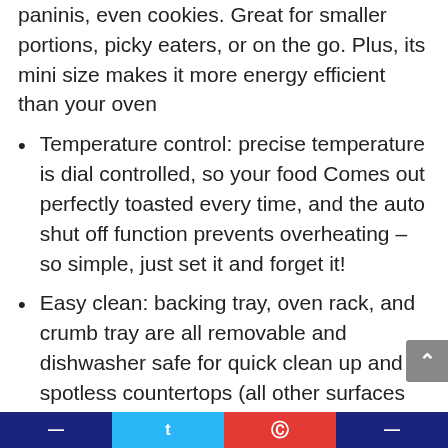paninis, even cookies. Great for smaller portions, picky eaters, or on the go. Plus, its mini size makes it more energy efficient than your oven
Temperature control: precise temperature is dial controlled, so your food Comes out perfectly toasted every time, and the auto shut off function prevents overheating – so simple, just set it and forget it!
Easy clean: backing tray, oven rack, and crumb tray are all removable and dishwasher safe for quick clean up and spotless countertops (all other surfaces are wipe clean)
Perfect gift: the perfect wedding or new home gift. Its small size takes up little counter space, and its sleek design and trendy color options will match any kitchen décor (Add to your registry now! )